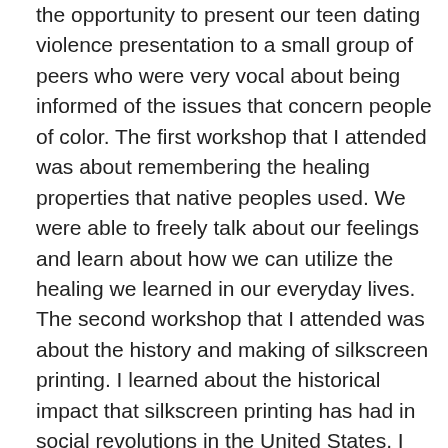the opportunity to present our teen dating violence presentation to a small group of peers who were very vocal about being informed of the issues that concern people of color. The first workshop that I attended was about remembering the healing properties that native peoples used. We were able to freely talk about our feelings and learn about how we can utilize the healing we learned in our everyday lives. The second workshop that I attended was about the history and making of silkscreen printing. I learned about the historical impact that silkscreen printing has had in social revolutions in the United States. I found this workshop extremely invigorating because it delved into how politics uses art to intersect and create a more powerful and impactful movement. The SFCYC conference was an invaluable experience in bringing together people of color to combat the big issues that plague the city today such as education and gentrification. – Amber Chang